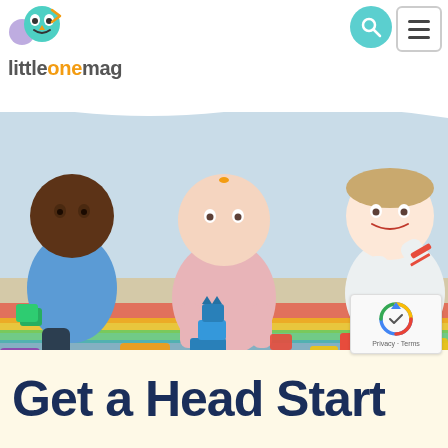littleonemag
[Figure (photo): Three toddlers sitting on a colorful play mat, playing with large colorful building blocks. The child on the left wears a light blue shirt and holds green blocks. The child in the middle wears a pink sweater and stacks blue blocks. The child on the right wears a white sweater and raises one arm cheerfully. Pink socks are visible on two children.]
Get a Head Start